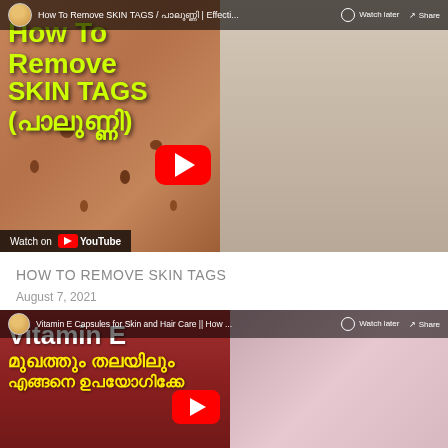[Figure (screenshot): YouTube video thumbnail: 'How To Remove SKIN TAGS / പാലുണ്ണി | Effecti...' featuring a dermatologist in a white coat on the right and skin close-up with Malayalam and English text overlay on the left. YouTube play button visible. 'Watch on YouTube' bar at bottom.]
HOW TO REMOVE SKIN TAGS
August 7, 2021
[Figure (screenshot): YouTube video thumbnail: 'Vitamin E Capsules for Skin and Hair Care || How ...' featuring a woman on the right and dark red background with text 'Vitamin E മുഖത്തും തലയിലും എങ്ങനെ ഉപയോഗിക്കേ' in Malayalam on the left. YouTube play button visible.]